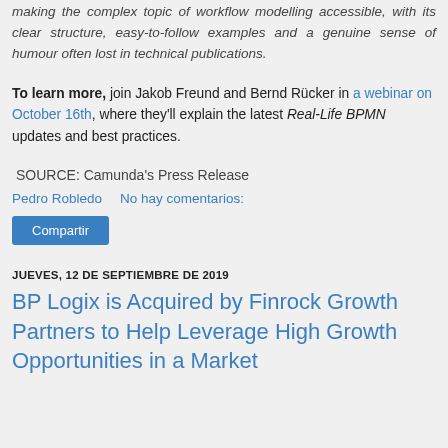making the complex topic of workflow modelling accessible, with its clear structure, easy-to-follow examples and a genuine sense of humour often lost in technical publications.
To learn more, join Jakob Freund and Bernd Rücker in a webinar on October 16th, where they'll explain the latest Real-Life BPMN updates and best practices.
SOURCE: Camunda's Press Release
Pedro Robledo    No hay comentarios:
Compartir
JUEVES, 12 DE SEPTIEMBRE DE 2019
BP Logix is Acquired by Finrock Growth Partners to Help Leverage High Growth Opportunities in a Market